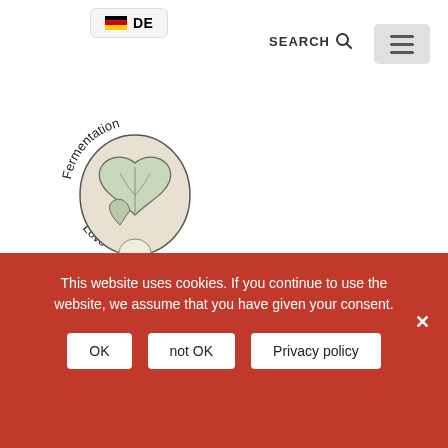[Figure (screenshot): German flag icon with 'DE' text inside a rounded button]
[Figure (logo): FermentationLove circular logo with illustrated fermented vegetable and text around the border]
SEARCH
CATEGORY
Year-round
This website uses cookies. If you continue to use the website, we assume that you have given your consent.
OK
not OK
Privacy policy